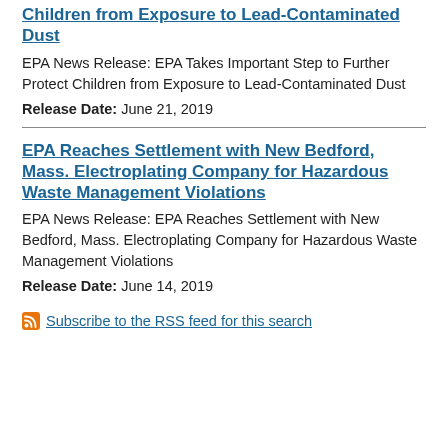Children from Exposure to Lead-Contaminated Dust
EPA News Release: EPA Takes Important Step to Further Protect Children from Exposure to Lead-Contaminated Dust
Release Date: June 21, 2019
EPA Reaches Settlement with New Bedford, Mass. Electroplating Company for Hazardous Waste Management Violations
EPA News Release: EPA Reaches Settlement with New Bedford, Mass. Electroplating Company for Hazardous Waste Management Violations
Release Date: June 14, 2019
Subscribe to the RSS feed for this search